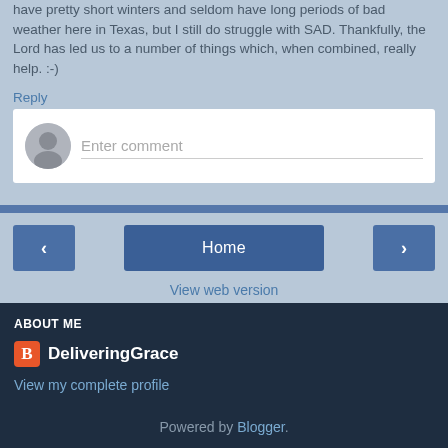have pretty short winters and seldom have long periods of bad weather here in Texas, but I still do struggle with SAD. Thankfully, the Lord has led us to a number of things which, when combined, really help. :-)
Reply
[Figure (screenshot): Enter comment input box with avatar icon]
[Figure (screenshot): Navigation bar with left arrow, Home button, and right arrow buttons, and View web version link]
ABOUT ME
DeliveringGrace
View my complete profile
Powered by Blogger.